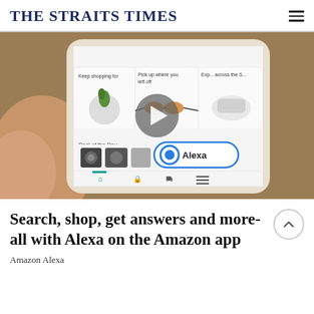THE STRAITS TIMES
[Figure (screenshot): A person holding a smartphone showing the Amazon app with sections: 'Keep shopping for', 'Pick up where you left off', 'Exp... across the S...', a plant in a disco ball, sunglasses, shoes, 'Deal of the Day', camera products, and the Alexa button in the bottom navigation. A play button overlay is shown in the center of the image.]
Search, shop, get answers and more- all with Alexa on the Amazon app
Amazon Alexa